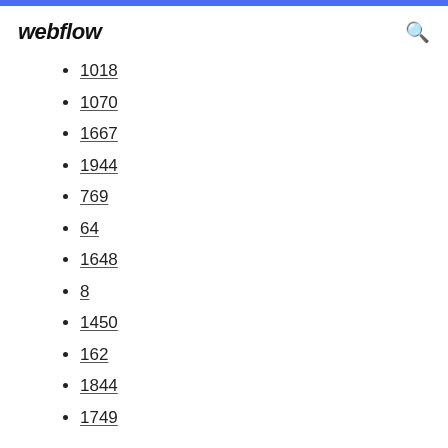webflow
1018
1070
1667
1944
769
64
1648
8
1450
162
1844
1749